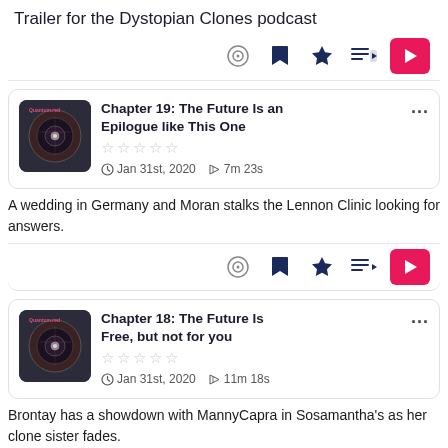Trailer for the Dystopian Clones podcast
[Figure (screenshot): Action buttons: ear/accessibility icon, bookmark icon, star/favorite icon, add-to-queue icon, pink play button]
[Figure (screenshot): Episode thumbnail image - vinyl record graphic on dark background, Quantum.red label]
Chapter 19: The Future Is an Epilogue like This One
... (more options)
★★★★★ (empty stars rating)
Jan 31st, 2020  7m 23s
A wedding in Germany and Moran stalks the Lennon Clinic looking for answers.
[Figure (screenshot): Action buttons: ear/accessibility icon, bookmark icon, star/favorite icon, add-to-queue icon, pink play button]
[Figure (screenshot): Episode thumbnail image - vinyl record graphic on dark background, Quantum.red label]
Chapter 18: The Future Is Free, but not for you
... (more options)
★★★★★ (empty stars rating)
Jan 31st, 2020  11m 18s
Brontay has a showdown with MannyCapra in Sosamantha's as her clone sister fades.